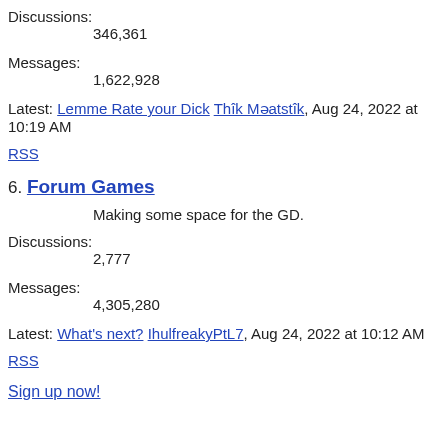Discussions:
346,361
Messages:
1,622,928
Latest: Lemme Rate your Dick Thîk Məatstîk, Aug 24, 2022 at 10:19 AM
RSS
6. Forum Games
Making some space for the GD.
Discussions:
2,777
Messages:
4,305,280
Latest: What's next? IhulfreakyPtL7, Aug 24, 2022 at 10:12 AM
RSS
Sign up now!